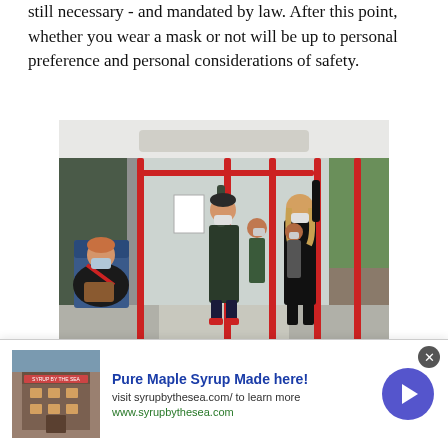still necessary - and mandated by law. After this point, whether you wear a mask or not will be up to personal preference and personal considerations of safety.
[Figure (photo): Interior of a public bus with passengers wearing face masks. A seated woman with a red bag is on the left wearing a mask. Several standing passengers in the center and right also wear masks. Red handrails are visible throughout the bus.]
Credit/Getty...
[Figure (other): Advertisement banner for Pure Maple Syrup from syrupbythesea.com, with a small photo of a building on the left and a navigation arrow button on the right.]